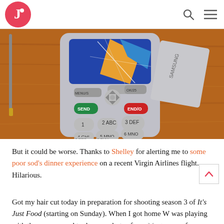Junket (logo with search and menu icons)
[Figure (photo): Close-up photo of an old Samsung flip/bar phone with keypad visible, lying on a wooden surface next to a stylus/pen. Phone shows a cracked screen with colorful image. Keys include SEND, END, MENU, OK, and numbered keys 1-9.]
But it could be worse. Thanks to Shelley for alerting me to some poor sod's dinner experience on a recent Virgin Airlines flight. Hilarious.
Got my hair cut today in preparation for shooting season 3 of It's Just Food (starting on Sunday). When I got home W was playing with the camera, and took some shots of me. Most were of my knees/midriff, but this one caught the new 'do. Let